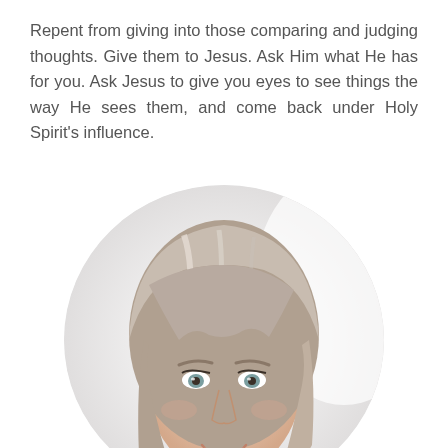Repent from giving into those comparing and judging thoughts. Give them to Jesus. Ask Him what He has for you. Ask Jesus to give you eyes to see things the way He sees them, and come back under Holy Spirit's influence.
[Figure (photo): Circular cropped portrait photo of a middle-aged woman with shoulder-length gray-blonde layered hair, smiling, with light blue-green eyes, on a bright white background.]